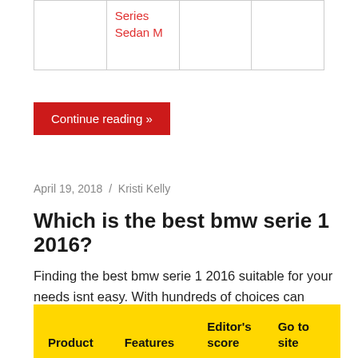|  | Series Sedan M |  |  |
| --- | --- | --- | --- |
|  | Series
Sedan M |  |  |
Continue reading »
April 19, 2018  /  Kristi Kelly
Which is the best bmw serie 1 2016?
Finding the best bmw serie 1 2016 suitable for your needs isnt easy. With hundreds of choices can distract you. Knowing whats bad and whats good can be something of a minefield. In this article, weve done the hard work for you.
| Product | Features | Editor's score | Go to site |
| --- | --- | --- | --- |